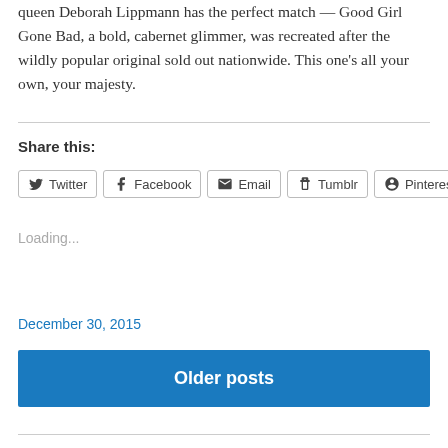queen Deborah Lippmann has the perfect match — Good Girl Gone Bad, a bold, cabernet glimmer, was recreated after the wildly popular original sold out nationwide. This one's all your own, your majesty.
Share this:
Twitter Facebook Email Tumblr Pinterest
Loading...
December 30, 2015
Older posts